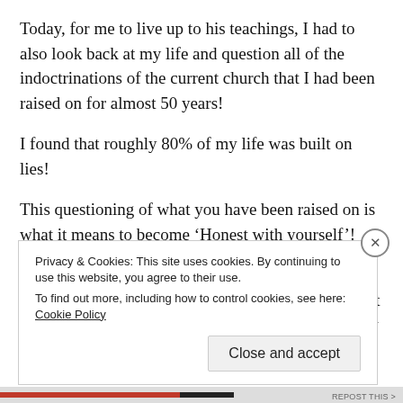Today, for me to live up to his teachings, I had to also look back at my life and question all of the indoctrinations of the current church that I had been raised on for almost 50 years!
I found that roughly 80% of my life was built on lies!
This questioning of what you have been raised on is what it means to become ‘Honest with yourself’!
Once you FREE your mind of these conflicts (lies) within it, your own mind will increase in speed by at least 10 times what it currently is! And if you follow some of my mind expanding techniques, then it will keep increasing exponentially for the
Privacy & Cookies: This site uses cookies. By continuing to use this website, you agree to their use.
To find out more, including how to control cookies, see here: Cookie Policy
Close and accept